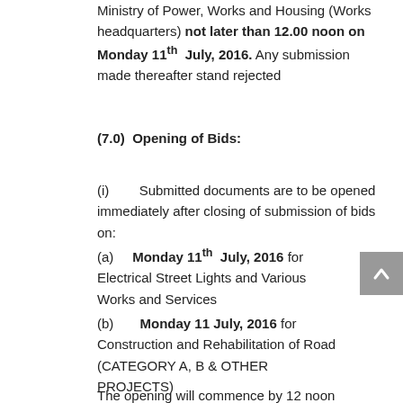Ministry of Power, Works and Housing (Works headquarters) not later than 12.00 noon on Monday 11th July, 2016. Any submission made thereafter stand rejected
(7.0)  Opening of Bids:
(i)        Submitted documents are to be opened immediately after closing of submission of bids on:
(a)     Monday 11th July, 2016 for Electrical Street Lights and Various Works and Services
(b)       Monday 11 July, 2016 for Construction and Rehabilitation of Road (CATEGORY A, B & OTHER PROJECTS)
The opening will commence by 12 noon immediately after closing of submissions on Monday th July, 2016 at the Ministry...